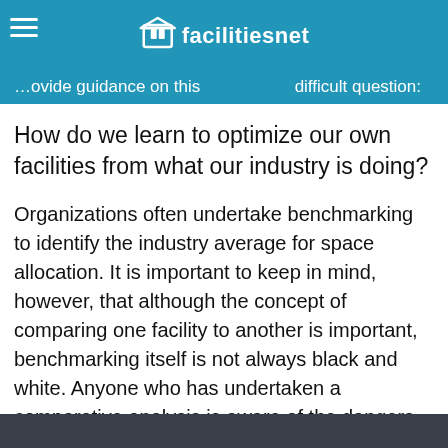facilitiesnet
provide guidance on this difficult question:
How do we learn to optimize our own facilities from what our industry is doing?
Organizations often undertake benchmarking to identify the industry average for space allocation. It is important to keep in mind, however, that although the concept of comparing one facility to another is important, benchmarking itself is not always black and white. Anyone who has undertaken a comparative analysis is aware of the dangers of oversimplifying data while neglecting the day-to-day